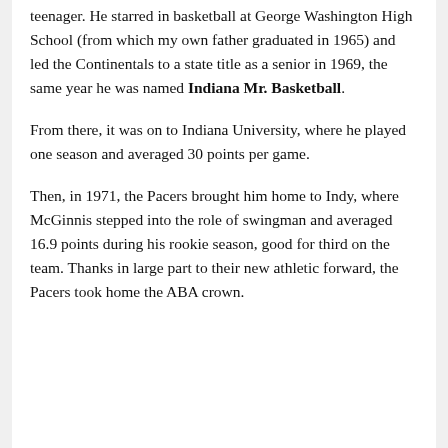teenager. He starred in basketball at George Washington High School (from which my own father graduated in 1965) and led the Continentals to a state title as a senior in 1969, the same year he was named Indiana Mr. Basketball.
From there, it was on to Indiana University, where he played one season and averaged 30 points per game.
Then, in 1971, the Pacers brought him home to Indy, where McGinnis stepped into the role of swingman and averaged 16.9 points during his rookie season, good for third on the team. Thanks in large part to their new athletic forward, the Pacers took home the ABA crown.